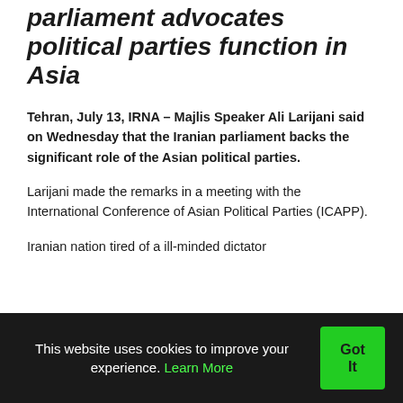parliament advocates political parties function in Asia
Tehran, July 13, IRNA – Majlis Speaker Ali Larijani said on Wednesday that the Iranian parliament backs the significant role of the Asian political parties.
Larijani made the remarks in a meeting with the International Conference of Asian Political Parties (ICAPP).
Iranian nation tired of a ill-minded dictator
This website uses cookies to improve your experience. Learn More
Got It